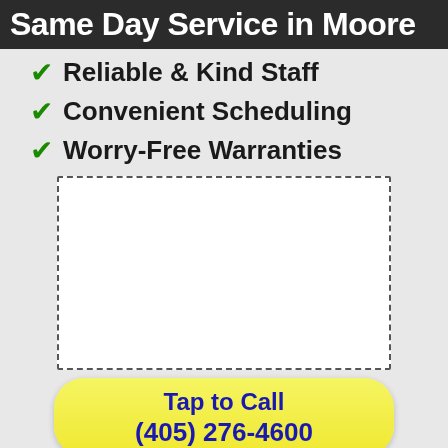Same Day Service in Moore
Reliable & Kind Staff
Convenient Scheduling
Worry-Free Warranties
[Figure (other): Empty white dashed-border rectangle placeholder for an image]
Tap to Call (405) 276-4600
Free Door Estimates